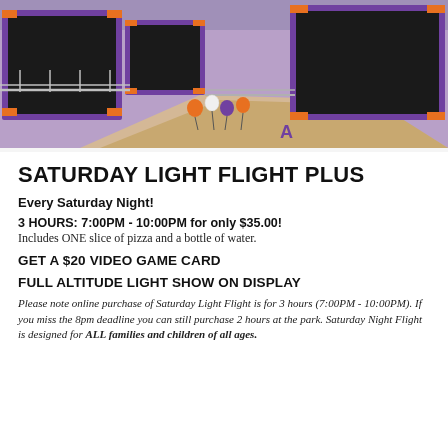[Figure (photo): Aerial view of an indoor trampoline park with purple and orange trampolines, railings, and orange/white/purple balloon decorations in the center area.]
SATURDAY LIGHT FLIGHT PLUS
Every Saturday Night!
3 HOURS: 7:00PM - 10:00PM for only $35.00!
Includes ONE slice of pizza and a bottle of water.
GET A $20 VIDEO GAME CARD
FULL ALTITUDE LIGHT SHOW ON DISPLAY
Please note online purchase of Saturday Light Flight is for 3 hours (7:00PM - 10:00PM). If you miss the 8pm deadline you can still purchase 2 hours at the park. Saturday Night Flight is designed for ALL families and children of all ages.